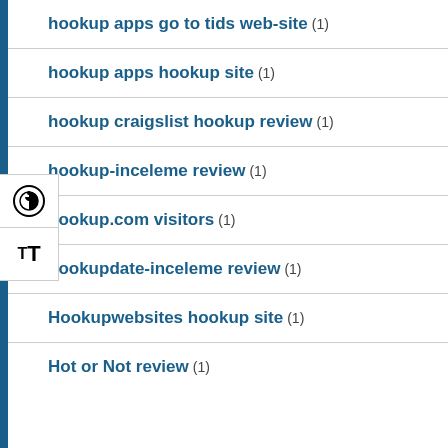hookup apps go to tids web-site (1)
hookup apps hookup site (1)
hookup craigslist hookup review (1)
hookup-inceleme review (1)
hookup.com visitors (1)
hookupdate-inceleme review (1)
Hookupwebsites hookup site (1)
Hot or Not review (1)